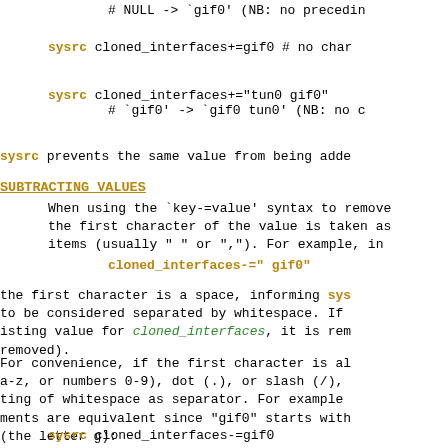# NULL -> `gif0' (NB: no preceding
sysrc cloned_interfaces+=gif0 # no char
sysrc cloned_interfaces+="tun0 gif0"
# `gif0' -> `gif0 tun0' (NB: no c
sysrc prevents the same value from being adde
SUBTRACTING VALUES
When using the `key-=value' syntax to remove
the first character of the value is taken as
items (usually " " or ",").  For example, in
cloned_interfaces-=" gif0"
the first character is a space, informing sysrc
to be considered separated by whitespace.  If
isting value for cloned_interfaces, it is rem
removed).
For convenience, if the first character is al
a-z, or numbers 0-9), dot (.), or slash (/),
ting of whitespace as separator.  For example
ments are equivalent since "gif0" starts with
(the letter g):
sysrc cloned_interfaces-=gif0